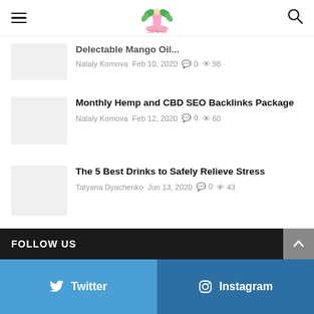CBD Temple - navigation header with logo
Delectable Mango Oils... — Nataly Komova  Feb 10, 2020  0  98
Monthly Hemp and CBD SEO Backlinks Package — Nataly Komova  Feb 12, 2020  0  60
The 5 Best Drinks to Safely Relieve Stress — Tatyana Dyachenko  Jun 13, 2020  0  43
FOLLOW US
Twitter
Instagram